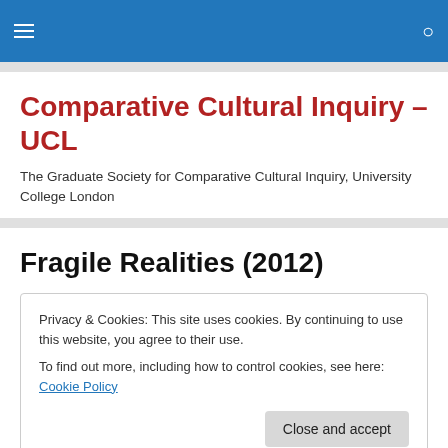Comparative Cultural Inquiry – UCL [navigation bar with menu and search icons]
Comparative Cultural Inquiry – UCL
The Graduate Society for Comparative Cultural Inquiry, University College London
Fragile Realities (2012)
Privacy & Cookies: This site uses cookies. By continuing to use this website, you agree to their use.
To find out more, including how to control cookies, see here: Cookie Policy
Close and accept